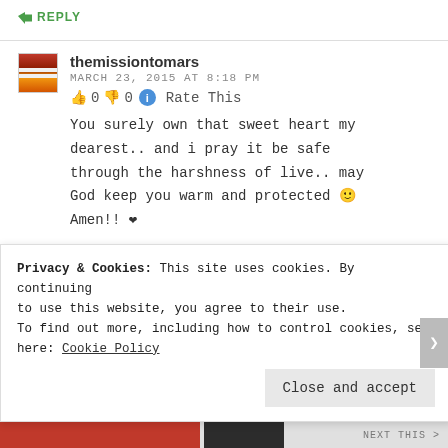REPLY
themissiontomars
MARCH 23, 2015 AT 8:18 PM
👍 0 👎 0 ℹ Rate This
You surely own that sweet heart my dearest.. and i pray it be safe through the harshness of live.. may God keep you warm and protected 🙂 Amen!! ❤
Privacy & Cookies: This site uses cookies. By continuing to use this website, you agree to their use. To find out more, including how to control cookies, see here: Cookie Policy
Close and accept